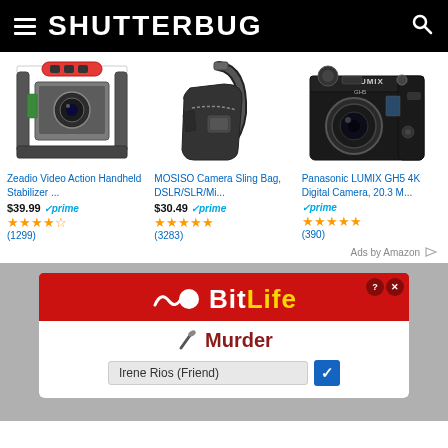SHUTTERBUG
[Figure (photo): Zeadio Video Action Handheld Stabilizer camera cage product photo]
[Figure (photo): MOSISO Camera Sling Bag, DSLR/SLR/Mi... product photo]
[Figure (photo): Panasonic LUMIX GH5 4K Digital Camera, 20.3 M... product photo]
Zeadio Video Action Handheld Stabilizer ...
$39.99 ✓prime (1299)
MOSISO Camera Sling Bag, DSLR/SLR/Mi...
$30.49 ✓prime (3283)
Panasonic LUMIX GH5 4K Digital Camera, 20.3 M...
✓prime (390)
Ads by Amazon
[Figure (screenshot): BitLife app advertisement showing Murder action with Irene Rios (Friend) dropdown]